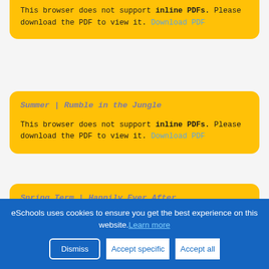This browser does not support inline PDFs. Please download the PDF to view it. Download PDF
Summer | Rumble in the Jungle
This browser does not support inline PDFs. Please download the PDF to view it. Download PDF
Spring Term | Happily Ever After
This browser does not support inline PDFs. Please download the PDF to view it. Download PDF
eSchools uses cookies to ensure you get the best experience on this website. Learn more
Dismiss Accept specific Accept all